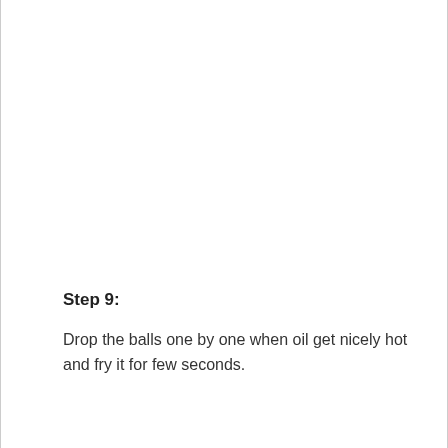Step 9:
Drop the balls one by one when oil get nicely hot and fry it for few seconds.